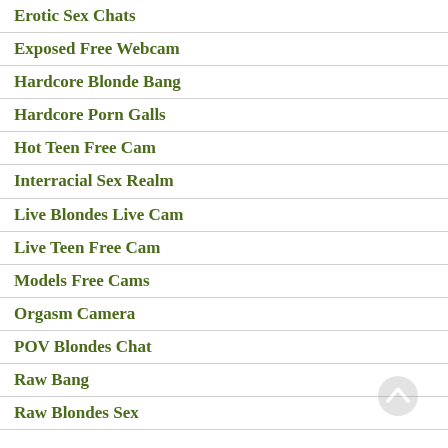Erotic Sex Chats
Exposed Free Webcam
Hardcore Blonde Bang
Hardcore Porn Galls
Hot Teen Free Cam
Interracial Sex Realm
Live Blondes Live Cam
Live Teen Free Cam
Models Free Cams
Orgasm Camera
POV Blondes Chat
Raw Bang
Raw Blondes Sex